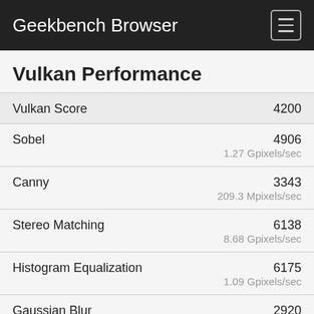Geekbench Browser
Vulkan Performance
| Metric | Score | Unit |
| --- | --- | --- |
| Vulkan Score | 4200 |  |
| Sobel | 4906 | 1.27 Gpixels/sec |
| Canny | 3343 | 209.3 Mpixels/sec |
| Stereo Matching | 6138 | 8.68 Gpixels/sec |
| Histogram Equalization | 6175 | 1.09 Gpixels/sec |
| Gaussian Blur | 2920 | 160.5 Mpixels/sec |
| Depth of Field | 8268 |  |